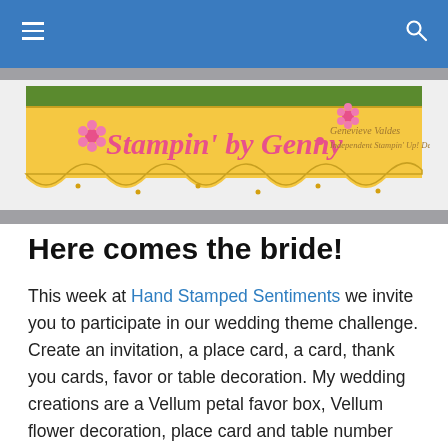Navigation bar with hamburger menu and search icon
[Figure (logo): Stampin' by Genny logo banner — yellow wavy-edged banner with green top, pink script text reading 'Stampin' by Genny', pink flowers, and smaller text 'Genevieve Valdes Independent Stampin' Up! Demonstrator']
Here comes the bride!
This week at Hand Stamped Sentiments we invite you to participate in our wedding theme challenge.  Create an invitation, a place card, a card, thank you cards, favor or table decoration.  My wedding creations are a Vellum petal favor box, Vellum flower decoration, place card and table number card.  The petal favor box is from a template I created and I'm selling it for $1.95.  Go to my Tutorial page to purchase. The flower...